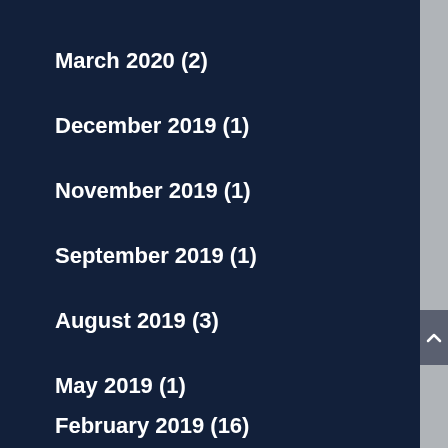March 2020 (2)
December 2019 (1)
November 2019 (1)
September 2019 (1)
August 2019 (3)
May 2019 (1)
February 2019 (16)